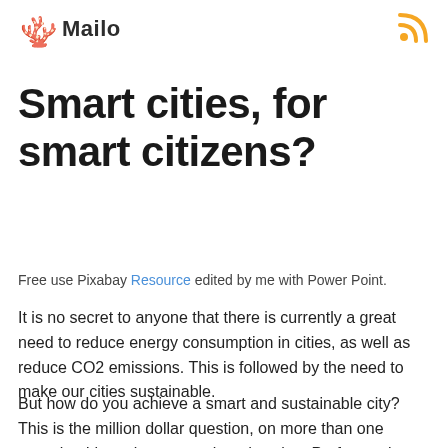Mailo
Smart cities, for smart citizens?
Free use Pixabay Resource edited by me with Power Point.
It is no secret to anyone that there is currently a great need to reduce energy consumption in cities, as well as reduce CO2 emissions. This is followed by the need to make our cities sustainable.
But how do you achieve a smart and sustainable city? This is the million dollar question, on more than one occasion I have been questioned saying, Professor, is